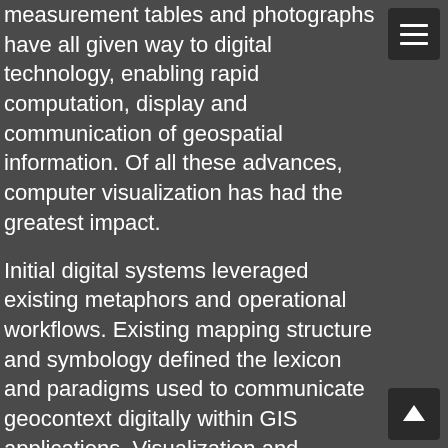measurement tables and photographs have all given way to digital technology, enabling rapid computation, display and communication of geospatial information. Of all these advances, computer visualization has had the greatest impact.
Initial digital systems leveraged existing metaphors and operational workflows. Existing mapping structure and symbology defined the lexicon and paradigms used to communicate geocontext digitally within GIS applications. Visualization and analysis of digital imagery employed a layout and tools that mimicked the structure of photographic-analysis light tables.
[/vc_column_text][ultimate_spacer height="10"] [vc_single_image image="88" img_size="full" add_caption="yes" alignment="center" style="vc_box_shadow_3d" css_animation="fadeIn"] [vc_column_text]